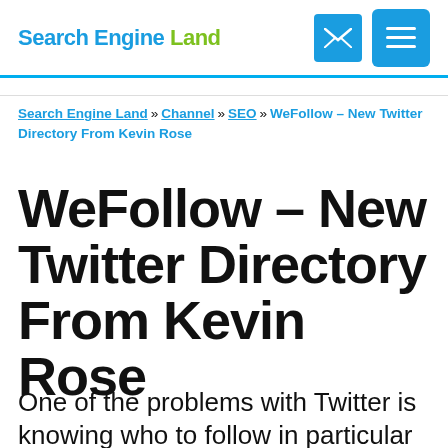Search Engine Land
Search Engine Land » Channel » SEO » WeFollow – New Twitter Directory From Kevin Rose
WeFollow – New Twitter Directory From Kevin Rose
One of the problems with Twitter is knowing who to follow in particular areas. Now Kevin Rose has launched WeFollow, a